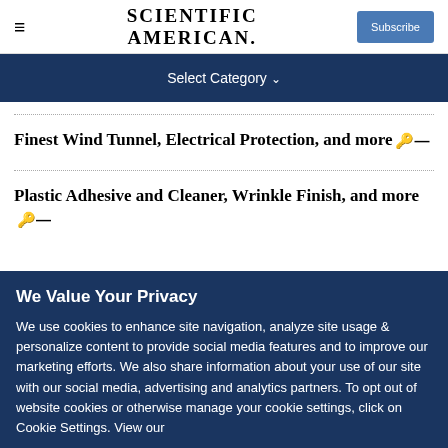SCIENTIFIC AMERICAN — Subscribe
Select Category
Finest Wind Tunnel, Electrical Protection, and more
Plastic Adhesive and Cleaner, Wrinkle Finish, and more
We Value Your Privacy
We use cookies to enhance site navigation, analyze site usage & personalize content to provide social media features and to improve our marketing efforts. We also share information about your use of our site with our social media, advertising and analytics partners. To opt out of website cookies or otherwise manage your cookie settings, click on Cookie Settings. View our